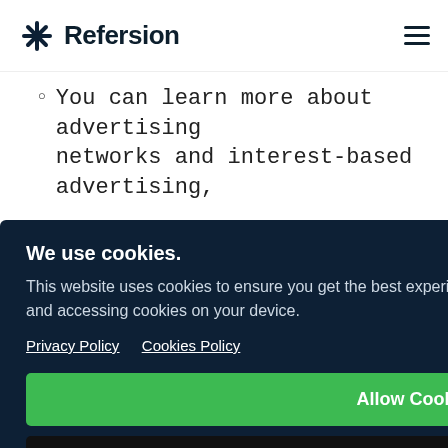Refersion
You can learn more about advertising networks and interest-based advertising,
We use cookies.
This website uses cookies to ensure you get the best experience. By clicking Allow, you agree to us storing and accessing cookies on your device.
Privacy Policy   Cookies Policy
[Allow Cookies button]
[Decline button]
more about these Principles, please